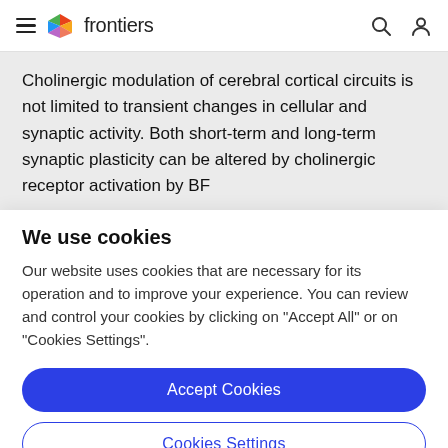frontiers
Cholinergic modulation of cerebral cortical circuits is not limited to transient changes in cellular and synaptic activity. Both short-term and long-term synaptic plasticity can be altered by cholinergic receptor activation by BF
We use cookies
Our website uses cookies that are necessary for its operation and to improve your experience. You can review and control your cookies by clicking on "Accept All" or on "Cookies Settings".
Accept Cookies
Cookies Settings